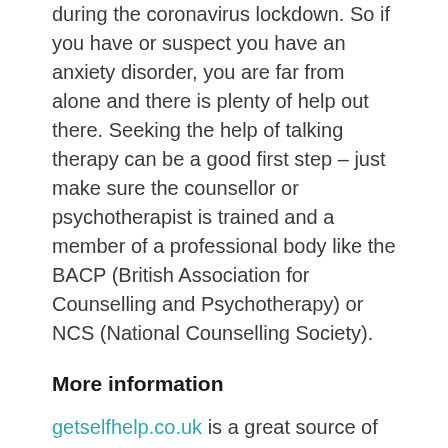during the coronavirus lockdown. So if you have or suspect you have an anxiety disorder, you are far from alone and there is plenty of help out there. Seeking the help of talking therapy can be a good first step – just make sure the counsellor or psychotherapist is trained and a member of a professional body like the BACP (British Association for Counselling and Psychotherapy) or NCS (National Counselling Society).
More information
getselfhelp.co.uk is a great source of tools and techniques that can help with anxiety
Anxiety UK (https://www.anxietyuk.org.uk) have information on this mental health condition as well as